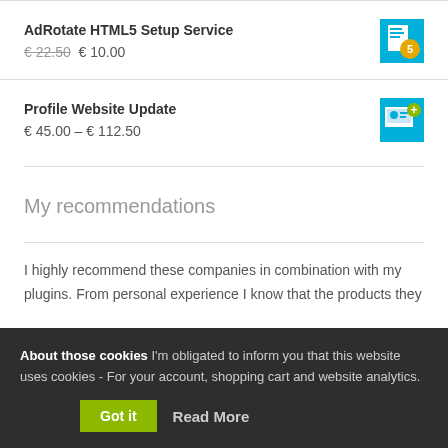AdRotate HTML5 Setup Service
€ 22.50 € 10.00
Profile Website Update
€ 45.00 – € 112.50
My recommendations
I highly recommend these companies in combination with my plugins. From personal experience I know that the products they
About those cookies I'm obligated to inform you that this website uses cookies - For your account, shopping cart and website analytics. Got it Read More